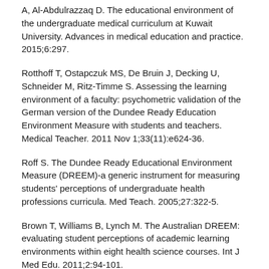A, Al-Abdulrazzaq D. The educational environment of the undergraduate medical curriculum at Kuwait University. Advances in medical education and practice. 2015;6:297.
Rotthoff T, Ostapczuk MS, De Bruin J, Decking U, Schneider M, Ritz-Timme S. Assessing the learning environment of a faculty: psychometric validation of the German version of the Dundee Ready Education Environment Measure with students and teachers. Medical Teacher. 2011 Nov 1;33(11):e624-36.
Roff S. The Dundee Ready Educational Environment Measure (DREEM)-a generic instrument for measuring students' perceptions of undergraduate health professions curricula. Med Teach. 2005;27:322-5.
Brown T, Williams B, Lynch M. The Australian DREEM: evaluating student perceptions of academic learning environments within eight health science courses. Int J Med Edu. 2011;2:94-101.